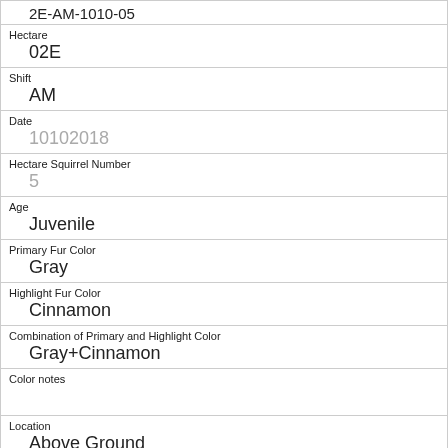| 2E-AM-1010-05 |
| Hectare | 02E |
| Shift | AM |
| Date | 10102018 |
| Hectare Squirrel Number | 5 |
| Age | Juvenile |
| Primary Fur Color | Gray |
| Highlight Fur Color | Cinnamon |
| Combination of Primary and Highlight Color | Gray+Cinnamon |
| Color notes |  |
| Location | Above Ground |